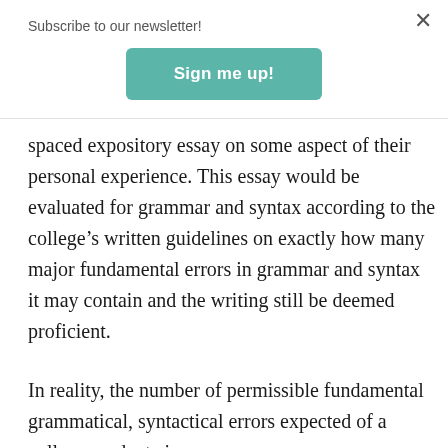Subscribe to our newsletter!
Sign me up!
spaced expository essay on some aspect of their personal experience. This essay would be evaluated for grammar and syntax according to the college's written guidelines on exactly how many major fundamental errors in grammar and syntax it may contain and the writing still be deemed proficient.
In reality, the number of permissible fundamental grammatical, syntactical errors expected of a college graduate is zero.